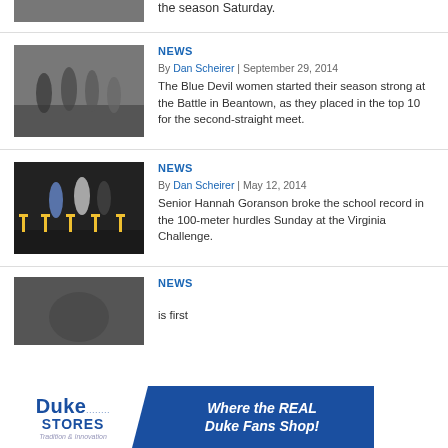the season Saturday.
[Figure (photo): Runners in an indoor track race, top partial view]
NEWS
By Dan Scheirer | September 29, 2014
The Blue Devil women started their season strong at the Battle in Beantown, as they placed in the top 10 for the second-straight meet.
[Figure (photo): Athletes competing in hurdles race indoors]
NEWS
By Dan Scheirer | May 12, 2014
Senior Hannah Goranson broke the school record in the 100-meter hurdles Sunday at the Virginia Challenge.
[Figure (photo): Third article photo, partially visible]
NEWS
is first
[Figure (photo): Duke Stores advertisement banner: Where the REAL Duke Fans Shop!]